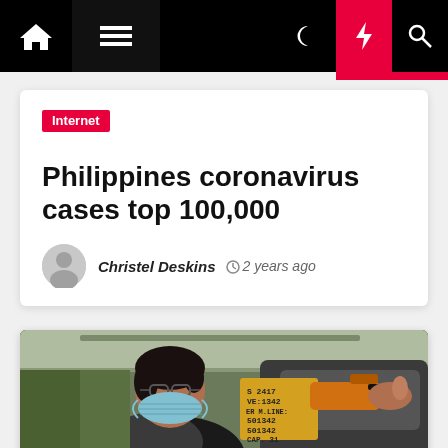Navigation bar with home, menu, dark mode, lightning/breaking, and search icons
Internet
Philippines coronavirus cases top 100,000
Christel Deskins  2 years ago
[Figure (photo): A woman wearing a face mask being checked with an infrared thermometer gun at what appears to be a transit station or terminal in the Philippines. A yellow sign with numbers is visible in the background.]